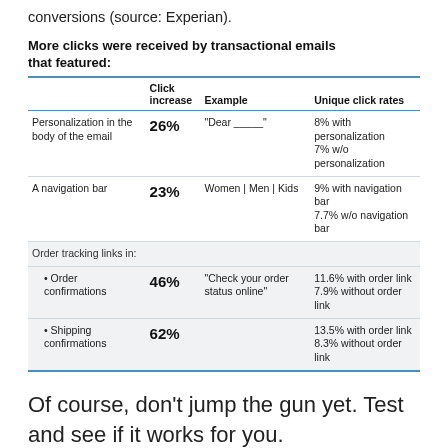conversions (source: Experian).
More clicks were received by transactional emails that featured:
|  | Click increase | Example | Unique click rates |
| --- | --- | --- | --- |
| Personalization in the body of the email | 26% | “Dear _____” | 8% with personalization
7% w/o personalization |
| A navigation bar | 23% | Women | Men | Kids | 9% with navigation bar
7.7% w/o navigation bar |
| Order tracking links in: |  |  |  |
| • Order confirmations | 46% | “Check your order status online” | 11.6% with order link
7.9% without order link |
| • Shipping confirmations | 62% |  | 13.5% with order link
8.3% without order link |
Of course, don’t jump the gun yet. Test and see if it works for you.
What to do once you have completed